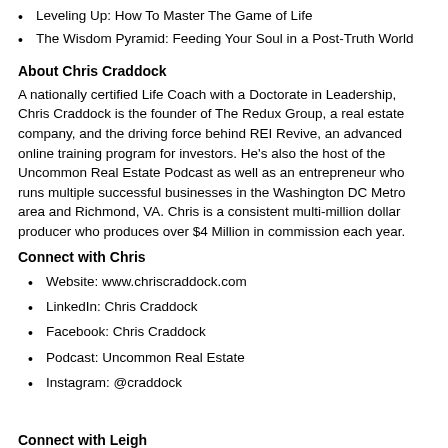Leveling Up: How To Master The Game of Life
The Wisdom Pyramid: Feeding Your Soul in a Post-Truth World
About Chris Craddock
A nationally certified Life Coach with a Doctorate in Leadership, Chris Craddock is the founder of The Redux Group, a real estate company, and the driving force behind REI Revive, an advanced online training program for investors. He's also the host of the Uncommon Real Estate Podcast as well as an entrepreneur who runs multiple successful businesses in the Washington DC Metro area and Richmond, VA. Chris is a consistent multi-million dollar producer who produces over $4 Million in commission each year.
Connect with Chris
Website: www.chriscraddock.com
LinkedIn: Chris Craddock
Facebook: Chris Craddock
Podcast: Uncommon Real Estate
Instagram: @craddock
Connect with Leigh
Please subscribe to this podcast in iTunes or in the Podcasts App on your phone, and never miss a beat from Leigh by visiting https://leighbrown.com. DM Leigh Brown on Instagram or on Twitter or any social networks by clicking